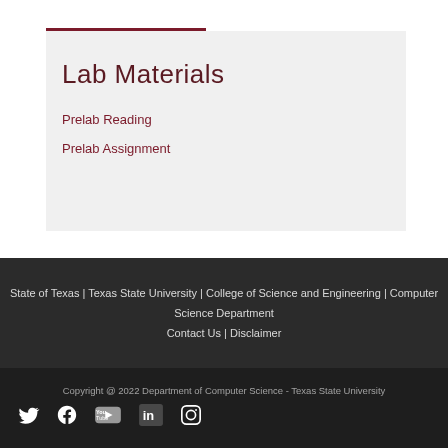Lab Materials
Prelab Reading
Prelab Assignment
State of Texas | Texas State University | College of Science and Engineering | Computer Science Department
Contact Us | Disclaimer
Copyright @ 2022 Department of Computer Science - Texas State University